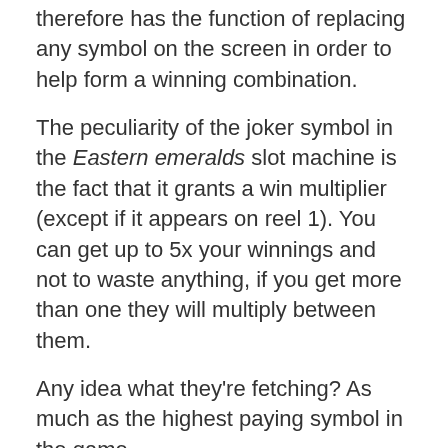therefore has the function of replacing any symbol on the screen in order to help form a winning combination.
The peculiarity of the joker symbol in the Eastern emeralds slot machine is the fact that it grants a win multiplier (except if it appears on reel 1). You can get up to 5x your winnings and not to waste anything, if you get more than one they will multiply between them.
Any idea what they're fetching? As much as the highest paying symbol in the game.
EASTERN EMERALDS FREE SPINS
The Phoenix is the symbol Scatter of the game. You will need at least 3 at a time to trigger the